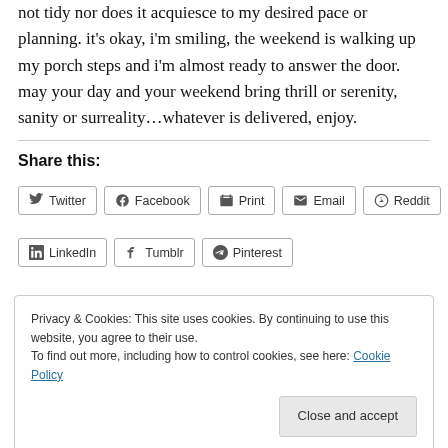not tidy nor does it acquiesce to my desired pace or planning. it's okay, i'm smiling, the weekend is walking up my porch steps and i'm almost ready to answer the door. may your day and your weekend bring thrill or serenity, sanity or surreality…whatever is delivered, enjoy.
Share this:
Twitter Facebook Print Email Reddit LinkedIn Tumblr Pinterest
Privacy & Cookies: This site uses cookies. By continuing to use this website, you agree to their use.
To find out more, including how to control cookies, see here: Cookie Policy
Close and accept